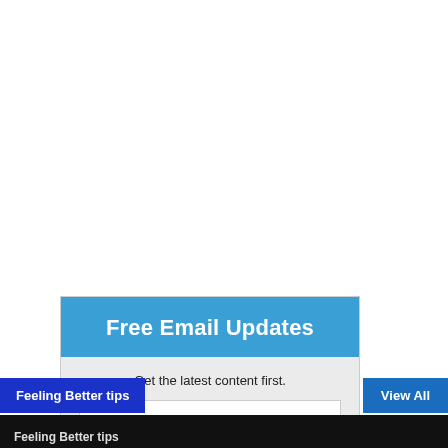Free Email Updates
Get the latest content first.
Your Email
Subscribe Now
We respect your privacy.
Feeling Better tips
View All
Feeling Better tips